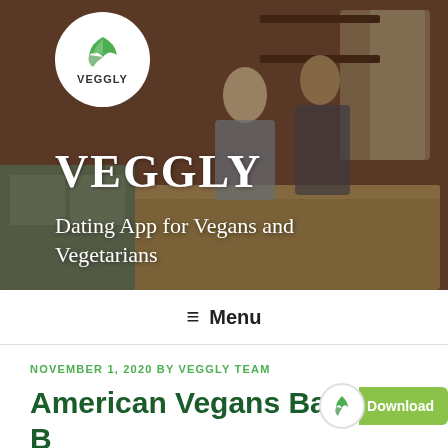[Figure (screenshot): Veggly website hero section showing a couple cooking in a kitchen with brick wall background. White circular Veggly logo in top left. Large white text reads VEGGLY and Dating App for Vegans and Vegetarians.]
VEGGLY
Dating App for Vegans and Vegetarians
≡ Menu
NOVEMBER 1, 2020 BY VEGGLY TEAM
American Vegans Backing Biden over Trump